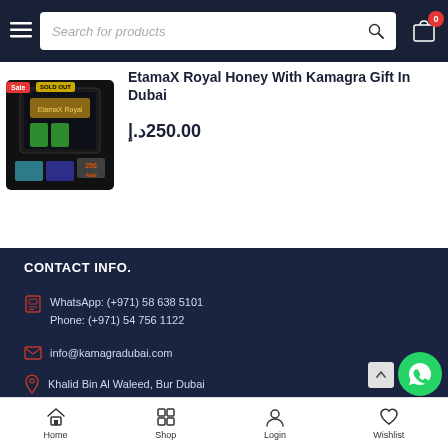Search for products
[Figure (photo): Product image: EtamaX Royal Honey with Kamagra gift, black box packaging with 250 AED price label]
EtamaX Royal Honey With Kamagra Gift In Dubai
250.00د.إ
CONTACT INFO.
WhatsApp: (+971) 58 638 5101
Phone: (+971) 54 756 1122
info@kamagradubai.com
Khalid Bin Al Waleed, Bur Dubai
Home  Shop  Login  Wishlist